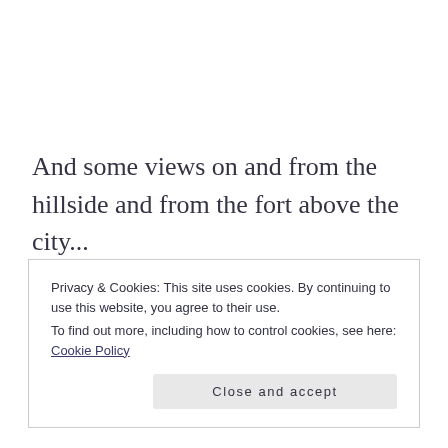And some views on and from the hillside and from the fort above the city...
Privacy & Cookies: This site uses cookies. By continuing to use this website, you agree to their use.
To find out more, including how to control cookies, see here: Cookie Policy
Close and accept